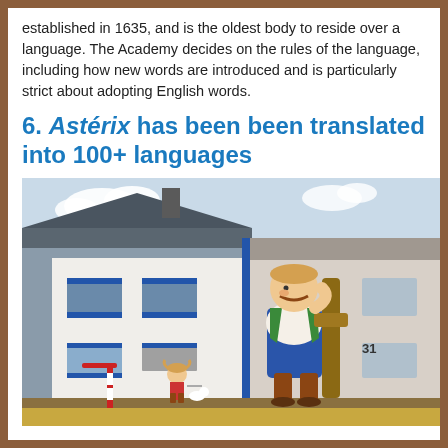established in 1635, and is the oldest body to reside over a language. The Academy decides on the rules of the language, including how new words are introduced and is particularly strict about adopting English words.
6. Astérix has been been translated into 100+ languages
[Figure (photo): Photo of a building exterior (Doppelhaus facade) in Hagen-Westf. with a large mural painting of Obelix carrying menhirs and Asterix characters on the white wall.]
"Doppelhausfassade in Hagen-Westf. IMGP8309" by Johann H. Addicks – addicks@gmx.net – selbst erstelltes Lichtbildwerk / own